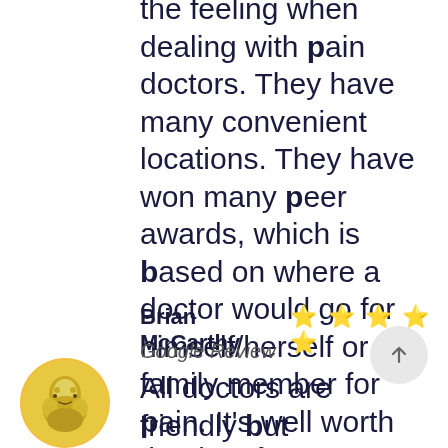the feeling when dealing with pain doctors. They have many convenient locations. They have won many peer awards, which is based on where a doctor would go for himself/herself or family member for pain. It's well worth the time for a consultation.
Brian McCarthy ⭐⭐⭐⭐⭐
Google Review
All doctors are friendly but